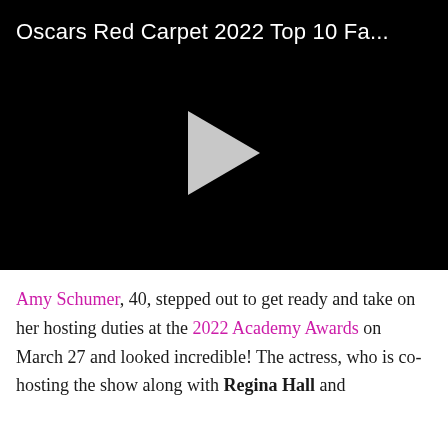[Figure (screenshot): Video thumbnail with black background showing title 'Oscars Red Carpet 2022 Top 10 Fa...' in white text and a grey play button triangle in the center]
Amy Schumer, 40, stepped out to get ready and take on her hosting duties at the 2022 Academy Awards on March 27 and looked incredible! The actress, who is co-hosting the show along with Regina Hall and